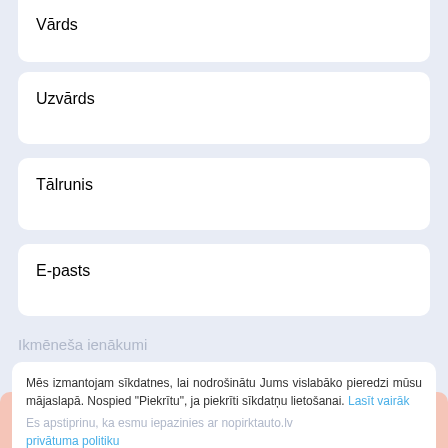Vārds
Uzvārds
Tālrunis
E-pasts
Ikmēneša ienākumi
Mēs izmantojam sīkdatnes, lai nodrošinātu Jums vislabāko pieredzi mūsu mājaslapā. Nospied "Piekrītu", ja piekrīti sīkdatņu lietošanai. Lasīt vairāk
Es apstiprinu, ka esmu iepazinies ar nopirktauto.lv privātuma politiku
Piekrītu
Sūtīt pieteikumu